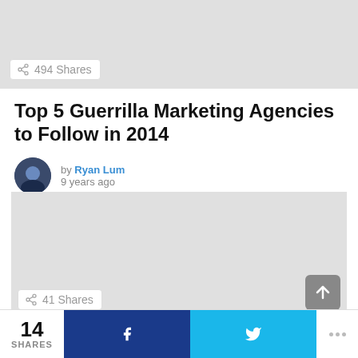[Figure (screenshot): Top image placeholder area (light gray)]
494 Shares
Top 5 Guerrilla Marketing Agencies to Follow in 2014
by Ryan Lum
9 years ago
[Figure (screenshot): Bottom image placeholder area (light gray)]
41 Shares
14 SHARES  f  Twitter bird  ...